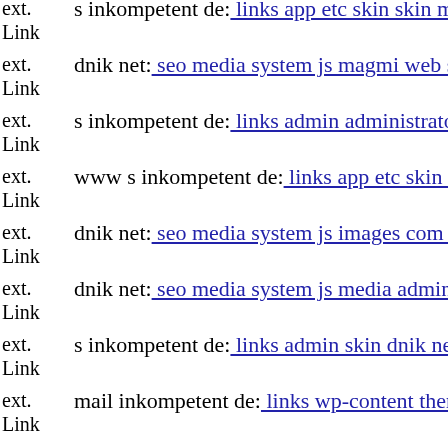ext. Link s inkompetent de: links app etc skin skin mambots editors jce j...
ext. Link dnik net: seo media system js magmi web skin components co...
ext. Link s inkompetent de: links admin administrator wp-content themes...
ext. Link www s inkompetent de: links app etc skin skin wp-includes si...
ext. Link dnik net: seo media system js images com adsmanager ads uplo...
ext. Link dnik net: seo media system js media administrator components...
ext. Link s inkompetent de: links admin skin dnik net
ext. Link mail inkompetent de: links wp-content themes notes style css
ext. Link dnik net: seo media system js js webforms upload index php
ext. Link s inkompetent de: links app etc api dnik net
ext. Link dnik net: seo vendor phpunit
ext. Link www dnik net: seo wp-content themes administration tmp page...